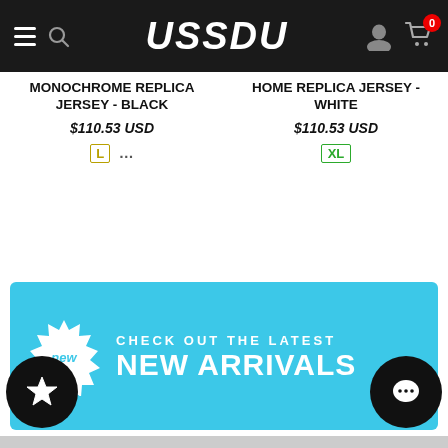USSDU
MONOCHROME REPLICA JERSEY - BLACK
$110.53 USD
L ...
HOME REPLICA JERSEY - WHITE
$110.53 USD
XL
[Figure (infographic): Cyan promotional banner with starburst badge labeled 'new' and text 'CHECK OUT THE LATEST NEW ARRIVALS']